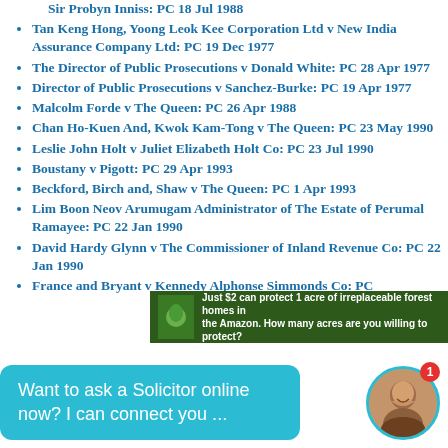Sir Probyn Inniss: PC 18 Jul 1988
Tan Keng Hong, Yoong Leok Kee Corporation Ltd v New India Assurance Company Ltd: PC 19 Dec 1977
The Director of Public Prosecutions v Donald White: PC 28 Apr 1977
Director of Public Prosecutions v Sanchez-Burke: PC 19 Apr 1977
Malcolm Forde v The Queen: PC 26 Apr 1988
Chan Ho-Kuen And, Kwok Kam-Tong v The Queen: PC 23 May 1990
Leslie John Holt v Juliet Elizabeth Holt Co: PC 23 Jul 1990
Boustany v Pigott: PC 29 Apr 1993
Beckford, Birch and, Shaw v The Queen: PC 1 Apr 1993
Lim Boon Neov Arumugam Administrator of The Estate of Perumal Ramayee: PC 22 Jan 1990
David Hardy Glynn v The Commissioner of Inland Revenue Co: PC 22 Jan 1990
France and Bryant v Kennedy Alphonse Simmonds Co: PC 20 Feb 1990
[Figure (screenshot): Advertisement banner: 'Just $2 can protect 1 acre of irreplaceable forest homes in the Amazon. How many acres are you willing to protect?']
[Figure (screenshot): Chat widget bubble: 'Want to ask a Solicitor online now? I can connect you ...' with avatar photo and notification badge showing 1]